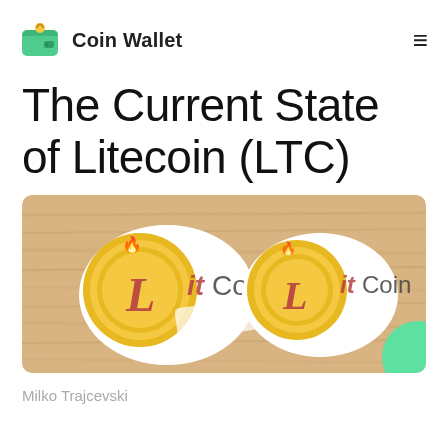Coin Wallet
The Current State of Litecoin (LTC)
[Figure (photo): Photo of two Litecoin (LTC) sticker coins on a wooden background, styled as 'Lit Coin' with flame icon]
Milko Trajcevski